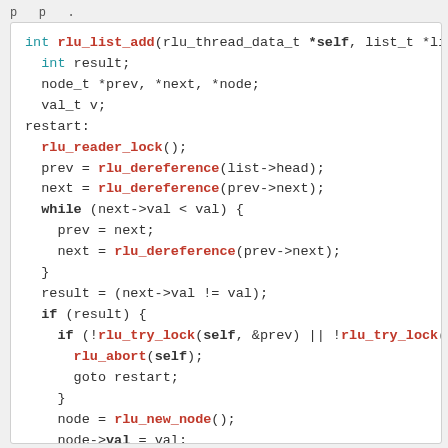p p .
[Figure (screenshot): Code listing showing C function rlu_list_add with RLU (Read-Log-Update) synchronization primitives]